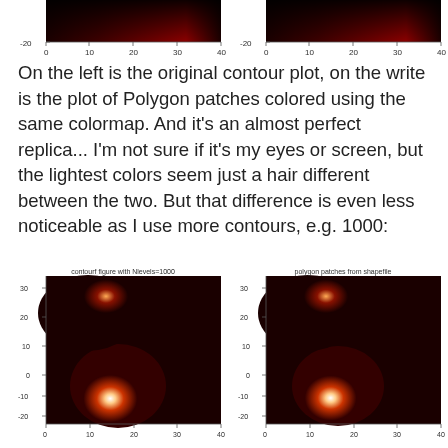[Figure (continuous-plot): Top partial contour plot (left): dark red/black gradient, x-axis 0-40, y-axis showing -20 tick, cropped at top]
[Figure (continuous-plot): Top partial polygon patches plot (right): dark red/black gradient, x-axis 0-40, y-axis showing -20 tick, cropped at top]
On the left is the original contour plot, on the write is the plot of Polygon patches colored using the same colormap. And it's an almost perfect replica... I'm not sure if it's my eyes or screen, but the lightest colors seem just a hair different between the two. But that difference is even less noticeable as I use more contours, e.g. 1000:
[Figure (continuous-plot): Contourf figure with Nlevels=1000: hot colormap plot showing two bright spots (white/orange) against dark red/black background. Title: 'contourf figure with Nlevels=1000'. Y-axis: -20 to 30, X-axis: 0 to 40.]
[Figure (continuous-plot): Polygon patches from shapefile: hot colormap plot showing two bright spots (white/orange) against dark red/black background. Title: 'polygon patches from shapefile'. Y-axis: -20 to 30, X-axis: 0 to 40.]